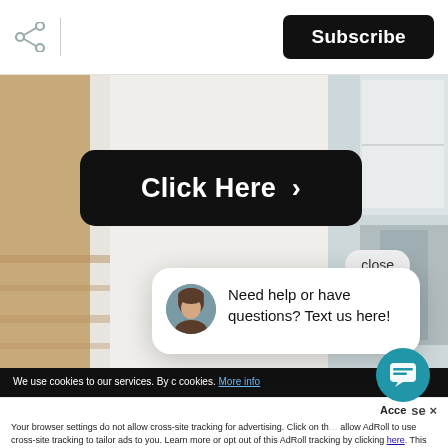[Figure (screenshot): Share icon (network share symbol) in top left of page header]
Subscribe
[Figure (illustration): Background kitchen photo showing wood floor, white cabinets, and kitchen interior]
Click Here >
close
[Figure (illustration): Chat popup with avatar photo of a woman with brown hair, and text: Need help or have questions? Text us here!]
Need help or have questions? Text us here!
We use cookies to our services. By c cookies. More info
Accept se ×
Your browser settings do not allow cross-site tracking for advertising. Click on th allow AdRoll to use cross-site tracking to tailor ads to you. Learn more or opt out of this AdRoll tracking by clicking here. This message only appears once.